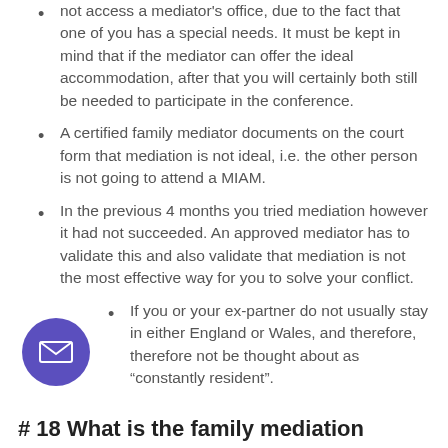not access a mediator's office, due to the fact that one of you has a special needs. It must be kept in mind that if the mediator can offer the ideal accommodation, after that you will certainly both still be needed to participate in the conference.
A certified family mediator documents on the court form that mediation is not ideal, i.e. the other person is not going to attend a MIAM.
In the previous 4 months you tried mediation however it had not succeeded. An approved mediator has to validate this and also validate that mediation is not the most effective way for you to solve your conflict.
If you or your ex-partner do not usually stay in either England or Wales, and therefore, therefore not be thought about as “constantly resident”.
# 18 What is the family mediation